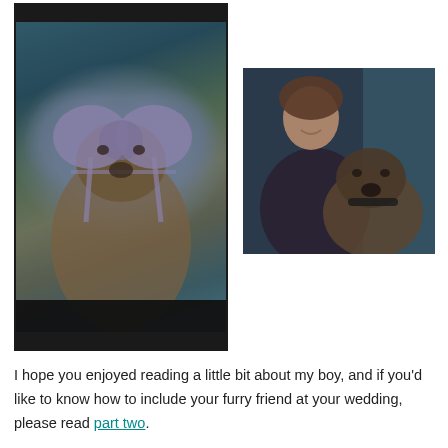[Figure (photo): A brindle dog lying on a bed wearing a purple/grey bra on its head, styled humorously]
[Figure (photo): A smiling woman with short brown hair holding a brindle dog, photographed indoors]
I hope you enjoyed reading a little bit about my boy, and if you'd like to know how to include your furry friend at your wedding, please read part two.